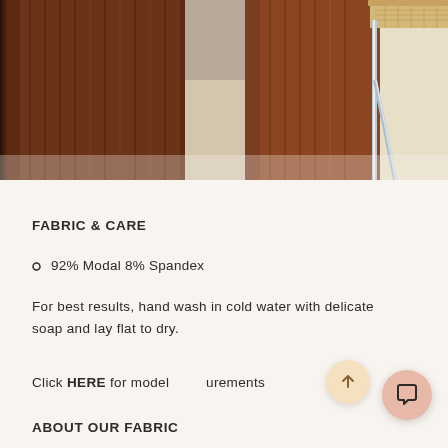[Figure (photo): Close-up photo of brown corduroy/suede wide-leg trousers with a chair (cane seat, chrome legs, wood frame) visible in the upper right corner, on a cream background]
FABRIC & CARE
92% Modal 8% Spandex
For best results, hand wash in cold water with delicate soap and lay flat to dry.
Click HERE for model measurements
ABOUT OUR FABRIC